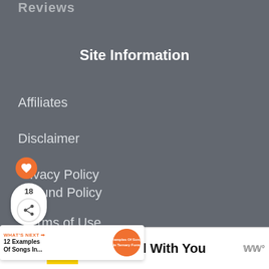Reviews
Site Information
Affiliates
Disclaimer
Privacy Policy
Refund Policy
Terms of Use
[Figure (screenshot): What's Next promo banner showing '12 Examples Of Songs In...' with orange circular thumbnail]
We Stand With You